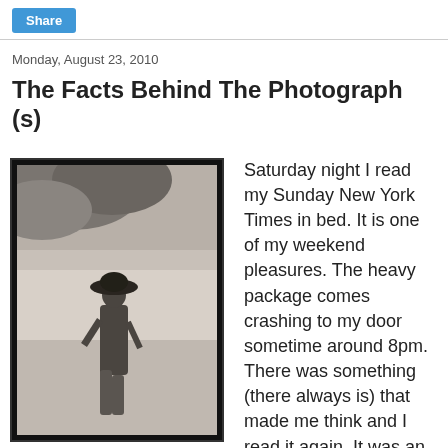Share
Monday, August 23, 2010
The Facts Behind The Photograph (s)
[Figure (photo): Black and white vintage-style photograph of a young woman in a wide-brimmed hat and short dress standing outdoors under trees near a body of water, with heavy black border typical of large-format film photography.]
Saturday night I read my Sunday New York Times in bed. It is one of my weekend pleasures. The heavy package comes crashing to my door sometime around 8pm. There was something (there always is) that made me think and I read it again. It was an article in